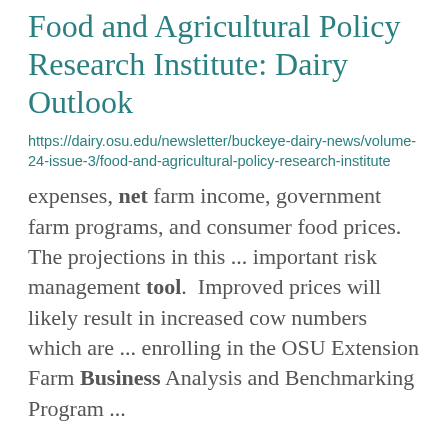Food and Agricultural Policy Research Institute: Dairy Outlook
https://dairy.osu.edu/newsletter/buckeye-dairy-news/volume-24-issue-3/food-and-agricultural-policy-research-institute
expenses, net farm income, government farm programs, and consumer food prices. The projections in this ... important risk management tool.  Improved prices will likely result in increased cow numbers which are ... enrolling in the OSU Extension Farm Business Analysis and Benchmarking Program ...
Beef